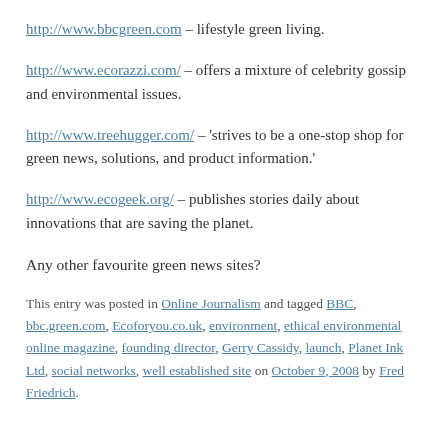http://www.bbcgreen.com – lifestyle green living.
http://www.ecorazzi.com/ – offers a mixture of celebrity gossip and environmental issues.
http://www.treehugger.com/ – 'strives to be a one-stop shop for green news, solutions, and product information.'
http://www.ecogeek.org/ – publishes stories daily about innovations that are saving the planet.
Any other favourite green news sites?
This entry was posted in Online Journalism and tagged BBC, bbc.green.com, Ecoforyou.co.uk, environment, ethical environmental online magazine, founding director, Gerry Cassidy, launch, Planet Ink Ltd, social networks, well established site on October 9, 2008 by Fred Friedrich.